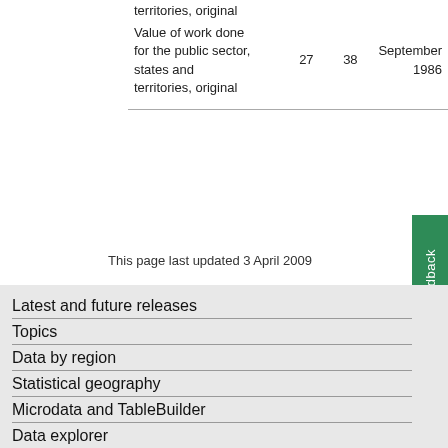| Description | Col1 | Col2 | Date |
| --- | --- | --- | --- |
| territories, original |  |  |  |
| Value of work done for the public sector, states and territories, original | 27 | 38 | September 1986 |
This page last updated 3 April 2009
Latest and future releases
Topics
Data by region
Statistical geography
Microdata and TableBuilder
Data explorer